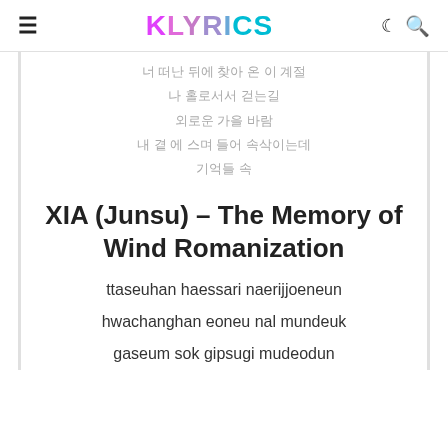KLYRICS
따스한 햇살이 내리쬐는 화창한 어느 날 문득 가슴 속 깊숙이 묻어둔 기억들 속에
XIA (Junsu) – The Memory of Wind Romanization
ttaseuhan haessari naerijjoeneun
hwachanghan eoneu nal mundeuk
gaseum sok gipsugi mudeodun